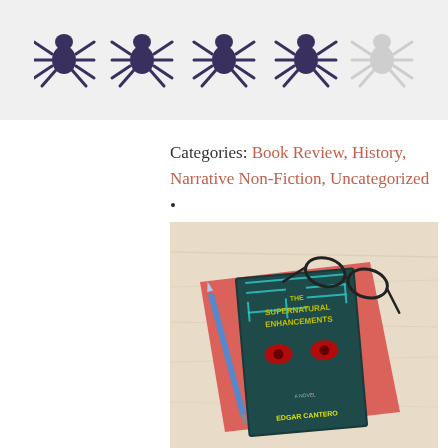[Figure (illustration): Five spider icons in a row used as a star rating system — four dark purple/black spiders and one light grey spider, representing 4 out of 5 rating]
Categories: Book Review, History, Narrative Non-Fiction, Uncategorized •
[Figure (photo): Photo of the book 'The Supernatural Enhancements' by Edgar Cantero placed on a red/coral notebook on a light wooden surface, with a blue pen and black-framed glasses resting on top]